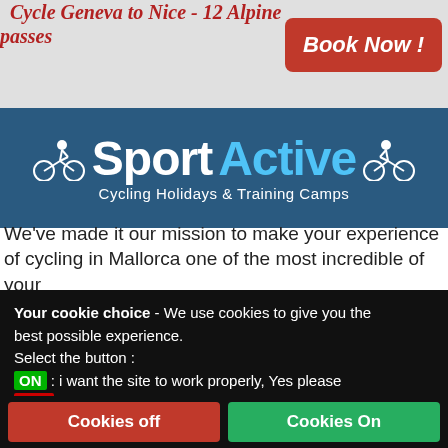Cycle Geneva to Nice - 12 Alpine passes
[Figure (logo): Book Now! button in red]
[Figure (logo): SportActive Cycling Holidays & Training Camps logo on dark blue background with cyclist silhouettes]
We've made it our mission to make your experience of cycling in Mallorca one of the most incredible of your
Your cookie choice - We use cookies to give you the best possible experience. Select the button : ON : i want the site to work properly, Yes please OFF :Impaired functionnality and experience How to control cookies on your computer Cookie policy Privacy policy
Cookies off  Cookies On